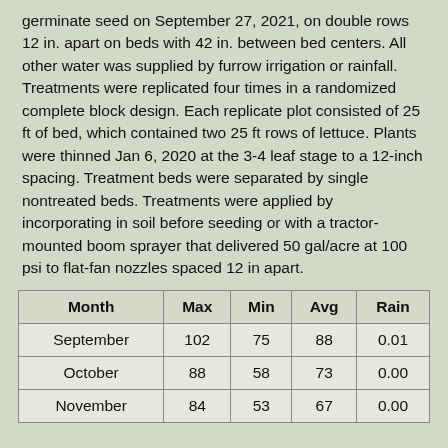germinate seed on September 27, 2021, on double rows 12 in. apart on beds with 42 in. between bed centers. All other water was supplied by furrow irrigation or rainfall. Treatments were replicated four times in a randomized complete block design. Each replicate plot consisted of 25 ft of bed, which contained two 25 ft rows of lettuce. Plants were thinned Jan 6, 2020 at the 3-4 leaf stage to a 12-inch spacing. Treatment beds were separated by single nontreated beds. Treatments were applied by incorporating in soil before seeding or with a tractor-mounted boom sprayer that delivered 50 gal/acre at 100 psi to flat-fan nozzles spaced 12 in apart.
| Month | Max | Min | Avg | Rain |
| --- | --- | --- | --- | --- |
| September | 102 | 75 | 88 | 0.01 |
| October | 88 | 58 | 73 | 0.00 |
| November | 84 | 53 | 67 | 0.00 |